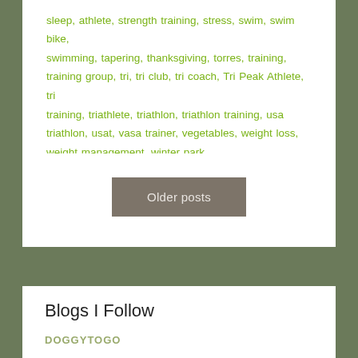sleep, athlete, strength training, stress, swim, swim bike, swimming, tapering, thanksgiving, torres, training, training group, tri, tri club, tri coach, Tri Peak Athlete, tri training, triathlete, triathlon, triathlon training, usa triathlon, usat, vasa trainer, vegetables, weight loss, weight management, winter park
Older posts
Blogs I Follow
DOGGYTOGO